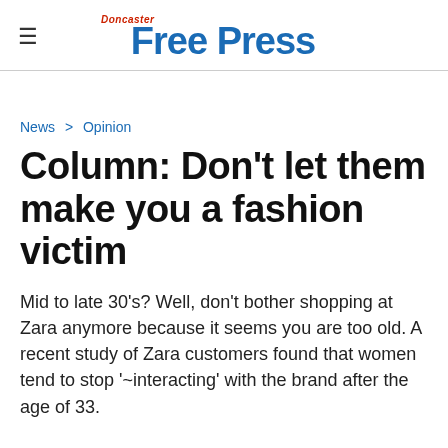Doncaster Free Press
News > Opinion
Column: Don't let them make you a fashion victim
Mid to late 30's? Well, don't bother shopping at Zara anymore because it seems you are too old. A recent study of Zara customers found that women tend to stop '~interacting' with the brand after the age of 33.